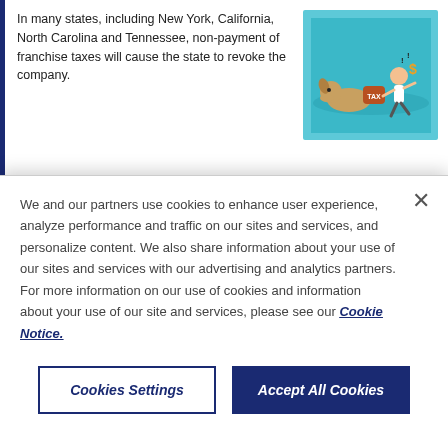In many states, including New York, California, North Carolina and Tennessee, non-payment of franchise taxes will cause the state to revoke the company.
[Figure (illustration): Cartoon illustration of a person running away from a dog biting a bag labeled TAX, on a teal background]
NOT MAINTAINING A REGISTERED AGENT
[Figure (illustration): Cartoon illustration of two hands tearing a contract document, on a teal background]
Most states require companies to maintain a registered agent. This is a person or company with an address in the state that accepts service of process on the company's behalf. A registered agent may resign if they don't receive payment, or if an employee acts in that
We and our partners use cookies to enhance user experience, analyze performance and traffic on our sites and services, and personalize content. We also share information about your use of our sites and services with our advertising and analytics partners. For more information on our use of cookies and information about your use of our site and services, please see our Cookie Notice.